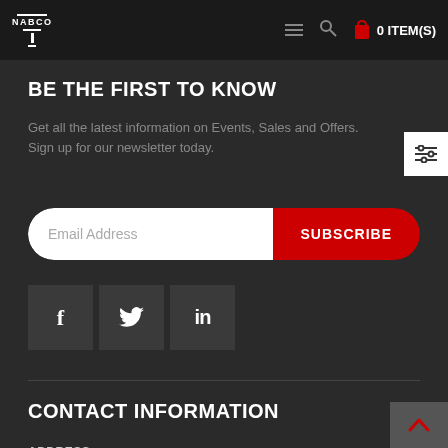NABCO | 0 ITEM(S)
BE THE FIRST TO KNOW
Get all the latest information on Events, Sales and Offers. Sign up for our newsletter today.
Email Address | SUBSCRIBE
[Figure (infographic): Social media icons: Facebook (f), Twitter (bird), LinkedIn (in)]
CONTACT INFORMATION
ADDRESS
4267 McBrayer Road, Oakwood GA, 30566